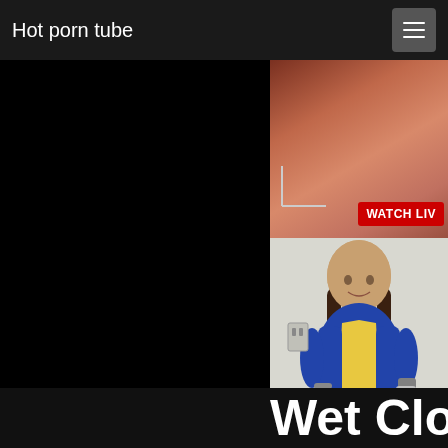Hot porn tube
[Figure (photo): Website screenshot showing adult content site navigation bar with title 'Hot porn tube' and hamburger menu icon, with partial photo images and text 'WATCH LIV' and 'Wet Cloth']